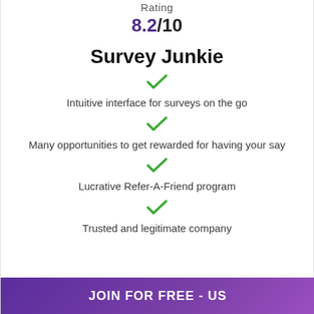Rating
8.2/10
Survey Junkie
Intuitive interface for surveys on the go
Many opportunities to get rewarded for having your say
Lucrative Refer-A-Friend program
Trusted and legitimate company
JOIN FOR FREE - US